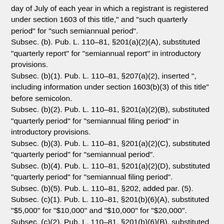day of July of each year in which a registrant is registered under section 1603 of this title," and "such quarterly period" for "such semiannual period".
Subsec. (b). Pub. L. 110–81, §201(a)(2)(A), substituted "quarterly report" for "semiannual report" in introductory provisions.
Subsec. (b)(1). Pub. L. 110–81, §207(a)(2), inserted ", including information under section 1603(b)(3) of this title" before semicolon.
Subsec. (b)(2). Pub. L. 110–81, §201(a)(2)(B), substituted "quarterly period" for "semiannual filing period" in introductory provisions.
Subsec. (b)(3). Pub. L. 110–81, §201(a)(2)(C), substituted "quarterly period" for "semiannual period".
Subsec. (b)(4). Pub. L. 110–81, §201(a)(2)(D), substituted "quarterly period" for "semiannual filing period".
Subsec. (b)(5). Pub. L. 110–81, §202, added par. (5).
Subsec. (c)(1). Pub. L. 110–81, §201(b)(6)(A), substituted "$5,000" for "$10,000" and "$10,000" for "$20,000".
Subsec. (c)(2). Pub. L. 110–81, §201(b)(6)(B), substituted